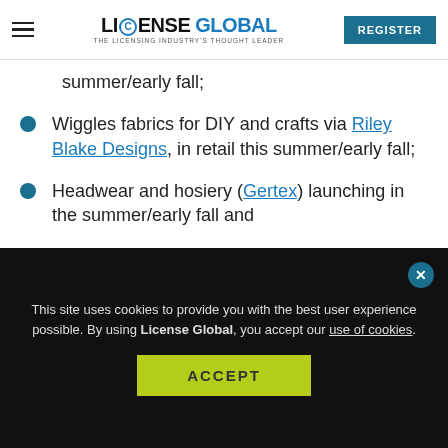LICENSE GLOBAL — THE LICENSING INDUSTRY'S THOUGHT LEADER | REGISTER
summer/early fall;
Wiggles fabrics for DIY and crafts via Riley Blake Designs, in retail this summer/early fall;
Headwear and hosiery (Gertex) launching in the summer/early fall and
T-shirts with JCORP this fall.
This site uses cookies to provide you with the best user experience possible. By using License Global, you accept our use of cookies.